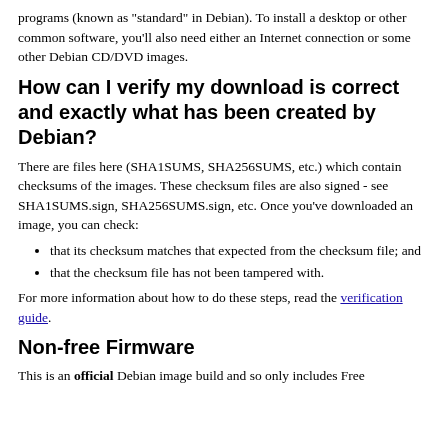programs (known as "standard" in Debian). To install a desktop or other common software, you'll also need either an Internet connection or some other Debian CD/DVD images.
How can I verify my download is correct and exactly what has been created by Debian?
There are files here (SHA1SUMS, SHA256SUMS, etc.) which contain checksums of the images. These checksum files are also signed - see SHA1SUMS.sign, SHA256SUMS.sign, etc. Once you've downloaded an image, you can check:
that its checksum matches that expected from the checksum file; and
that the checksum file has not been tampered with.
For more information about how to do these steps, read the verification guide.
Non-free Firmware
This is an official Debian image build and so only includes Free